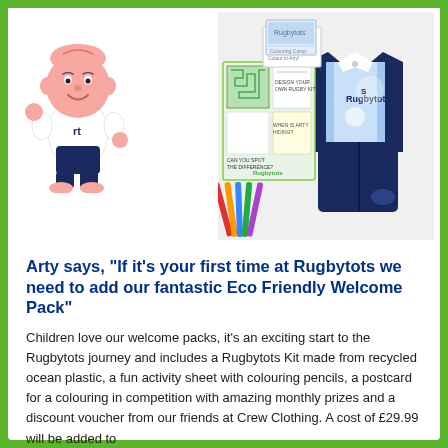[Figure (illustration): Cartoon mascot character 'Arty' — a smiling baby/toddler wearing a white rugby shirt with 'rt' logo and blue shorts, pink skin, waving fist]
[Figure (photo): Photo of Rugbytots welcome pack contents including a navy and light blue rugby kit (shirt and shorts), activity sheets with maze and colouring pages, coloured pencils, and a postcard]
Arty says, "If it's your first time at Rugbytots we need to add our fantastic Eco Friendly Welcome Pack"
Children love our welcome packs, it's an exciting start to the Rugbytots journey and includes a Rugbytots Kit made from recycled ocean plastic, a fun activity sheet with colouring pencils, a postcard for a colouring in competition with amazing monthly prizes and a discount voucher from our friends at Crew Clothing. A cost of £29.99 will be added to